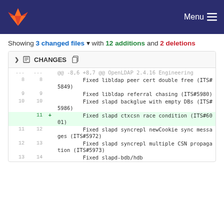GitLab Menu
Showing 3 changed files with 12 additions and 2 deletions
| old | new | op | content |
| --- | --- | --- | --- |
| ... | ... |  | @@ -8,6 +8,7 @@ OpenLDAP 2.4.16 Engineering |
| 8 | 8 |  |         Fixed libldap peer cert double free (ITS#5849) |
| 9 | 9 |  |         Fixed libldap referral chasing (ITS#5980) |
| 10 | 10 |  |         Fixed slapd backglue with empty DBs (ITS#5986) |
|  | 11 | + |         Fixed slapd ctxcsn race condition (ITS#6001) |
| 11 | 12 |  |         Fixed slapd syncrepl newCookie sync messages (ITS#5972) |
| 12 | 13 |  |         Fixed slapd syncrepl multiple CSN propagation (ITS#5973) |
| 13 | 14 |  |         Fixed slapd-bdb/hdb |